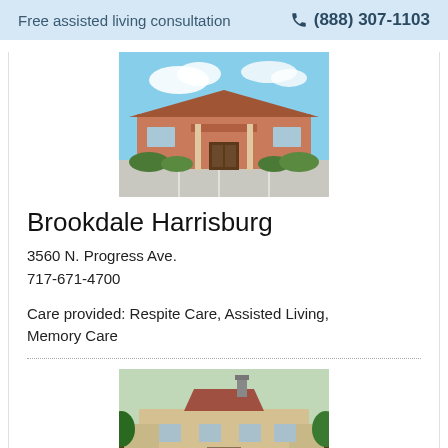Free assisted living consultation  ☎ (888) 307-1103
[Figure (photo): Exterior photo of Brookdale Harrisburg assisted living facility, a single-story brick building with covered entrance, green landscaping, and blue sky with clouds]
Brookdale Harrisburg
3560 N. Progress Ave.
717-671-4700
Care provided: Respite Care, Assisted Living, Memory Care
[Figure (photo): Exterior photo of a second assisted living facility, showing a multi-story beige building with a peaked roof, chimney, and surrounding trees]